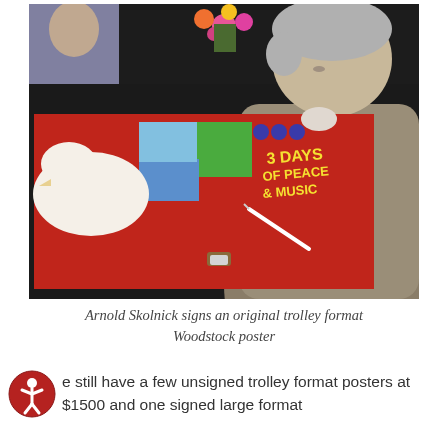[Figure (photo): A man with grey hair leans over a table signing a red Woodstock '3 Days of Peace & Music' trolley format poster. The table is covered with a black tablecloth and there are flowers in the background.]
Arnold Skolnick signs an original trolley format Woodstock poster
e still have a few unsigned trolley format posters at $1500 and one signed large format